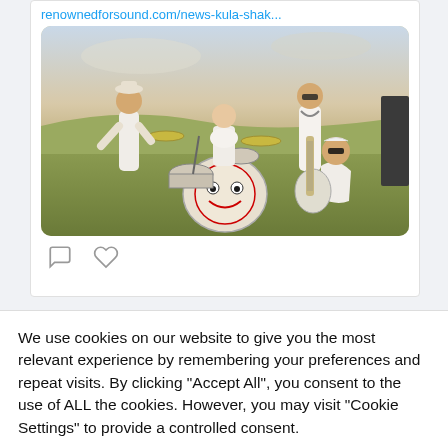renownedforsound.com/news-kula-shak...
[Figure (photo): Band photo of four musicians in white clothing posed outdoors in a field with a drum kit featuring a decorative face on the bass drum. One member holds a guitar, another stands behind the drum kit, and two others stand in the background.]
We use cookies on our website to give you the most relevant experience by remembering your preferences and repeat visits. By clicking "Accept All", you consent to the use of ALL the cookies. However, you may visit "Cookie Settings" to provide a controlled consent.
Cookie Settings
Accept All